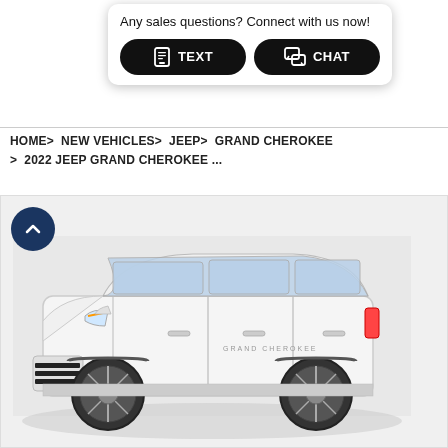Any sales questions? Connect with us now!
TEXT
CHAT
VISIT US
Menu
SSAD
HOME> NEW VEHICLES> JEEP> GRAND CHEROKEE > 2022 JEEP GRAND CHEROKEE ...
[Figure (photo): White 2022 Jeep Grand Cherokee SUV photographed in a studio setting, front three-quarter view, showing the iconic 7-slot grille, modern headlights, and alloy wheels.]